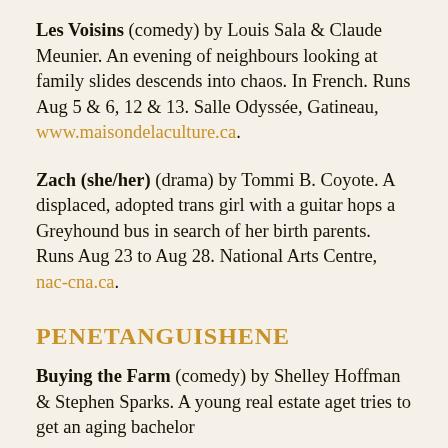Les Voisins (comedy) by Louis Sala & Claude Meunier. An evening of neighbours looking at family slides descends into chaos. In French. Runs Aug 5 & 6, 12 & 13. Salle Odyssée, Gatineau, www.maisondelaculture.ca.
Zach (she/her) (drama) by Tommi B. Coyote. A displaced, adopted trans girl with a guitar hops a Greyhound bus in search of her birth parents. Runs Aug 23 to Aug 28. National Arts Centre, nac-cna.ca.
PENETANGUISHENE
Buying the Farm (comedy) by Shelley Hoffman & Stephen Sparks. A young real estate aget tries to get an aging bachelor